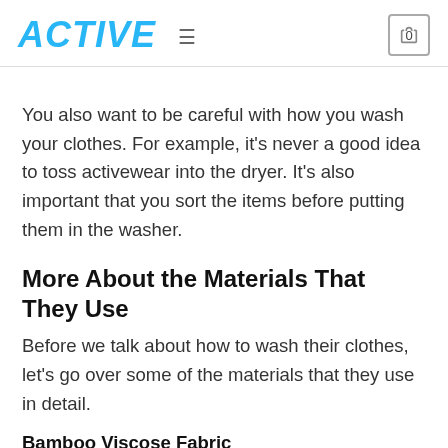ACTIVE
You also want to be careful with how you wash your clothes. For example, it's never a good idea to toss activewear into the dryer. It's also important that you sort the items before putting them in the washer.
More About the Materials That They Use
Before we talk about how to wash their clothes, let's go over some of the materials that they use in detail.
Bamboo Viscose Fabric